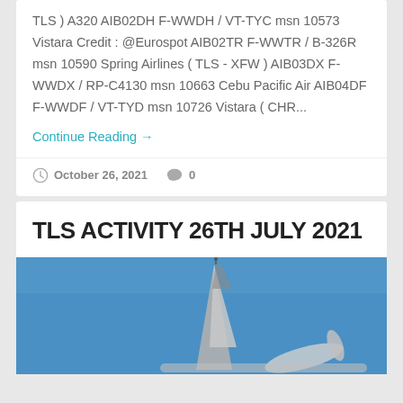TLS ) A320 AIB02DH F-WWDH / VT-TYC msn 10573 Vistara Credit : @Eurospot AIB02TR F-WWTR / B-326R msn 10590 Spring Airlines ( TLS - XFW ) AIB03DX F-WWDX / RP-C4130 msn 10663 Cebu Pacific Air AIB04DF F-WWDF / VT-TYD msn 10726 Vistara ( CHR...
Continue Reading →
October 26, 2021   0
TLS ACTIVITY 26TH JULY 2021
[Figure (photo): Photograph of an aircraft tail fin against a blue sky, showing the upper vertical stabilizer and wing tips of an airplane in flight or on ground.]